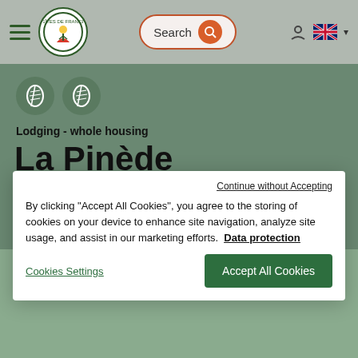[Figure (screenshot): Gîtes de France website header with hamburger menu, logo, search bar, user icon, and UK flag language selector]
[Figure (logo): Two green circular ear-of-wheat icons indicating lodging classification]
Lodging - whole housing
La Pinède
Ref : 13G202228 | in PLAN D'ORGON - Bouches-du-Rhône
Continue without Accepting
By clicking "Accept All Cookies", you agree to the storing of cookies on your device to enhance site navigation, analyze site usage, and assist in our marketing efforts.  Data protection
Cookies Settings
Accept All Cookies